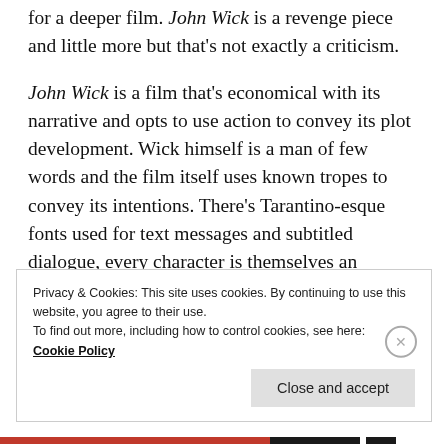for a deeper film. John Wick is a revenge piece and little more but that's not exactly a criticism.
John Wick is a film that's economical with its narrative and opts to use action to convey its plot development. Wick himself is a man of few words and the film itself uses known tropes to convey its intentions. There's Tarantino-esque fonts used for text messages and subtitled dialogue, every character is themselves an archetype, and the bad guys are Russians with a sort of comic book style to their makeup.
Privacy & Cookies: This site uses cookies. By continuing to use this website, you agree to their use.
To find out more, including how to control cookies, see here:
Cookie Policy
Close and accept